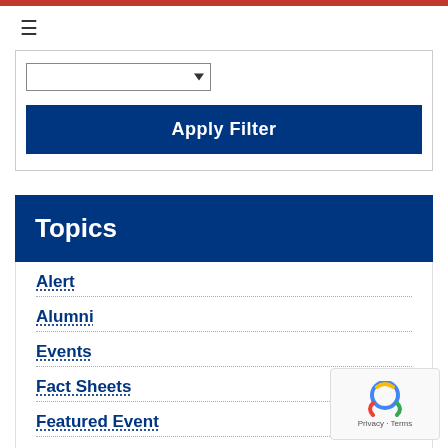[Figure (screenshot): Red top bar navigation bar]
[Figure (screenshot): Hamburger menu icon (three horizontal lines)]
[Figure (screenshot): Dropdown select box with arrow]
Apply Filter
Topics
Alert
Alumni
Events
Fact Sheets
Featured Event
Former U.S. Government Leaders
Former U.S. Government Leaders